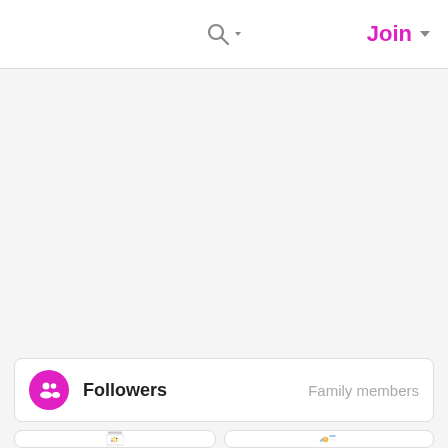Search | Join
[Figure (screenshot): Large empty gray content area (main page body)]
Followers   Family members
[Figure (photo): Product supplement bottle with colorful gummies, white cap, white label with lemon/lime graphic]
[Figure (screenshot): Step 1: Tell us where to send your jar — form screenshot with orange citrus graphic]